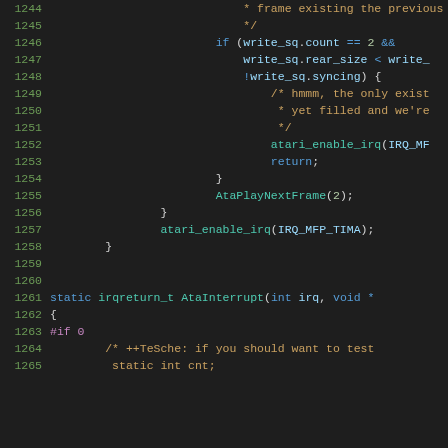[Figure (screenshot): Source code listing (C code) with line numbers 1244–1265, dark theme editor, showing code for AtaInterrupt function with write_sq conditions, atari_enable_irq calls, AtaPlayNextFrame, and function declarations.]